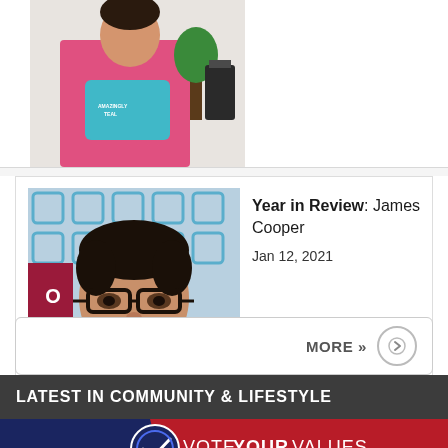[Figure (photo): Partial view of a person holding a teal/blue package, with a plant and lantern in the background — top portion of article card]
[Figure (photo): Portrait photo of James Cooper, a man with glasses and a beard, wearing a dark red shirt, standing in front of a blue geometric patterned background with a partial red/maroon banner on the left]
Year in Review: James Cooper
Jan 12, 2021
LATEST IN COMMUNITY & LIFESTYLE
[Figure (logo): Vote Your Values advertisement banner with circular logo and text VOTE YOUR VALUES / LEARN MORE on a dark blue and red gradient background]